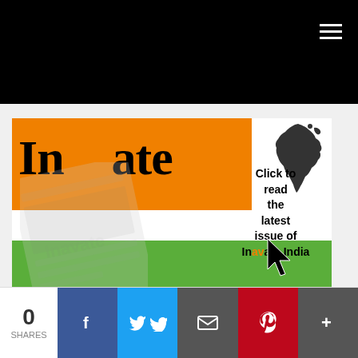Inavate India website header with hamburger menu
[Figure (illustration): Inavate India magazine banner with Indian flag colors (orange, white, green stripes), Inavate logo in black bold serif with orange 'av', India map silhouette, ghosted magazine cover overlay, 'Click to read the latest issue of Inavate India' text with cursor arrow]
0 SHARES | Share on Facebook | Share on Twitter | Email | Pinterest | More